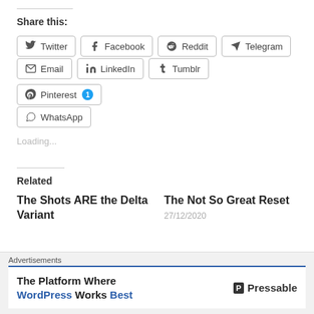Share this:
Twitter
Facebook
Reddit
Telegram
Email
LinkedIn
Tumblr
Pinterest 1
WhatsApp
Loading...
Related
The Shots ARE the Delta Variant
The Not So Great Reset
27/12/2020
Advertisements
The Platform Where WordPress Works Best